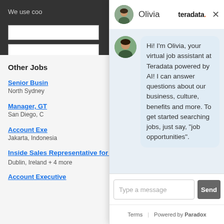We use coo
Other Jobs
Senior Busin
North Sydney
Manager, GT
San Diego, C
Account Exe
Jakarta, Indonesia
Inside Sales Representative for Nordics
Dublin, Ireland + 4 more
Account Executive
[Figure (screenshot): Chat widget popup with Olivia avatar, Teradata branding, message bubble reading: Hi! I'm Olivia, your virtual job assistant at Teradata powered by AI! I can answer questions about our business, culture, benefits and more. To get started searching jobs, just say, "job opportunities". Input field 'Type a message' with Send button. Footer: Terms | Powered by Paradox]